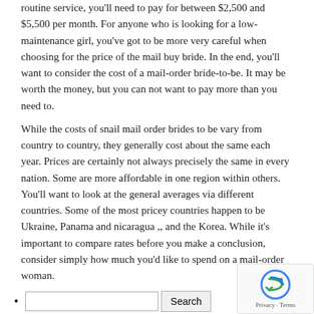routine service, you'll need to pay for between $2,500 and $5,500 per month. For anyone who is looking for a low-maintenance girl, you've got to be more very careful when choosing for the price of the mail buy bride. In the end, you'll want to consider the cost of a mail-order bride-to-be. It may be worth the money, but you can not want to pay more than you need to.
While the costs of snail mail order brides to be vary from country to country, they generally cost about the same each year. Prices are certainly not always precisely the same in every nation. Some are more affordable in one region within others. You'll want to look at the general averages via different countries. Some of the most pricey countries happen to be Ukraine, Panama and nicaragua ,, and the Korea. While it's important to compare rates before you make a conclusion, consider simply how much you'd like to spend on a mail-order woman.
[Search input and button]
Pages
#1197 (no title)
About Us
Attorneys
Contact Us